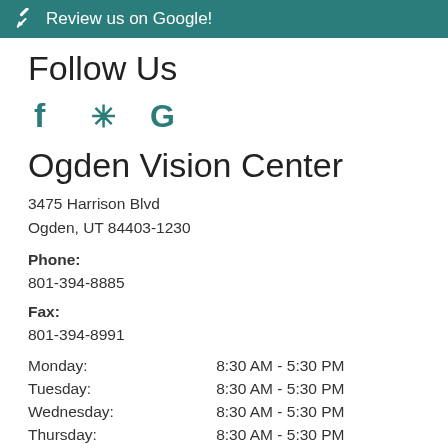[Figure (other): Teal banner with pencil/edit icon and text 'Review us on Google!']
Follow Us
[Figure (other): Social media icons: Facebook (f), Yelp (asterisk/flower), Google (G) in teal color]
Ogden Vision Center
3475 Harrison Blvd
Ogden, UT 84403-1230
Phone:
801-394-8885
Fax:
801-394-8991
| Day | Hours |
| --- | --- |
| Monday: | 8:30 AM - 5:30 PM |
| Tuesday: | 8:30 AM - 5:30 PM |
| Wednesday: | 8:30 AM - 5:30 PM |
| Thursday: | 8:30 AM - 5:30 PM |
| Friday: | 8:30 AM - 5:30 PM |